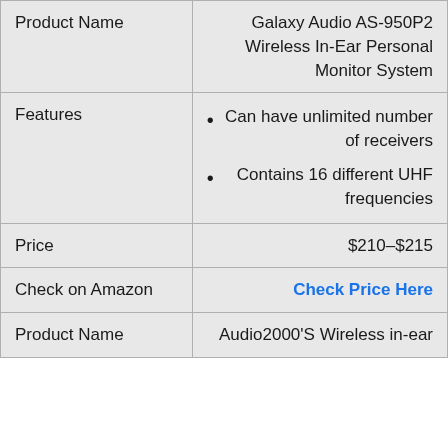|  |  |
| --- | --- |
| Product Name | Galaxy Audio AS-950P2 Wireless In-Ear Personal Monitor System |
| Features | • Can have unlimited number of receivers
• Contains 16 different UHF frequencies |
| Price | $210–$215 |
| Check on Amazon | Check Price Here |
| Product Name | Audio2000'S Wireless in-ear |